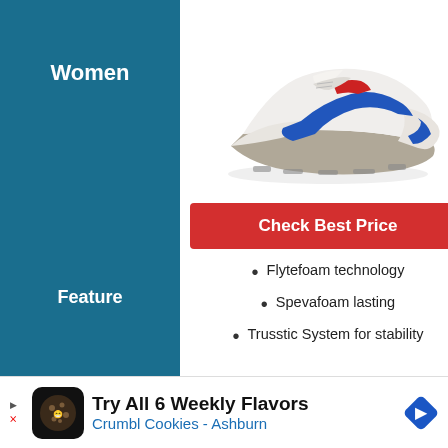Women
[Figure (photo): White ASICS running shoe with blue and red swoosh stripe detail, shown from the side on a white background.]
Check Best Price
Flytefoam technology
Spevafoam lasting
Trusstic System for stability
Feature
Saucony Men's Cohesion
Try All 6 Weekly Flavors Crumbl Cookies - Ashburn